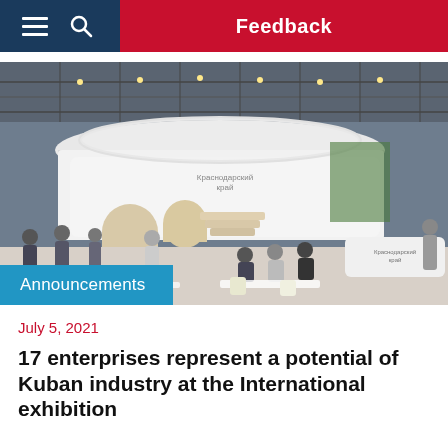Feedback
[Figure (photo): Exhibition hall interior showing a large white curved exhibition booth labeled 'Краснодарский край' with visitors and officials standing and sitting around tables in a modern trade show setting.]
Announcements
July 5, 2021
17 enterprises represent a potential of Kuban industry at the International exhibition